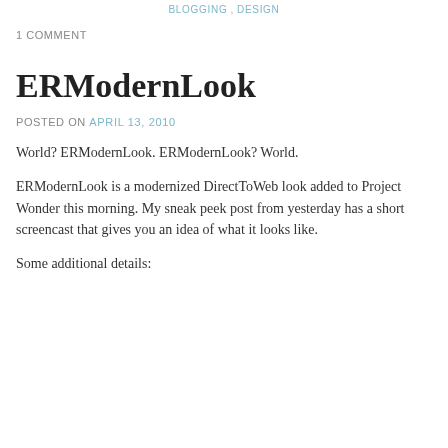POSTED IN BLOGGING  TAGGED ANNOUNCE , BLOGGING , DESIGN
1 COMMENT
ERModernLook
POSTED ON APRIL 13, 2010
World? ERModernLook. ERModernLook? World.
ERModernLook is a modernized DirectToWeb look added to Project Wonder this morning. My sneak peek post from yesterday has a short screencast that gives you an idea of what it looks like.
Some additional details: